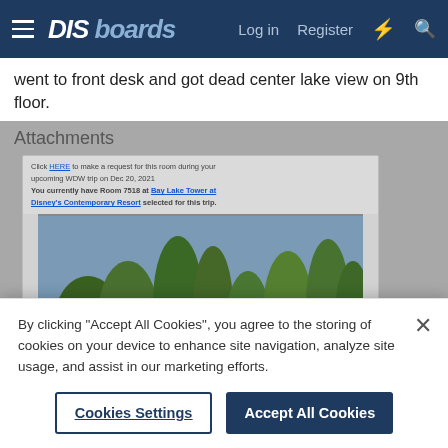DIS boards — Log in  Register
went to front desk and got dead center lake view on 9th floor.
Attachments
[Figure (photo): Attachment showing a lake view photo from Disney's Contemporary Resort with vegetation and water visible, with a small text box above it indicating an upcoming WDW trip and room request details.]
By clicking "Accept All Cookies", you agree to the storing of cookies on your device to enhance site navigation, analyze site usage, and assist in our marketing efforts.
Cookies Settings   Accept All Cookies